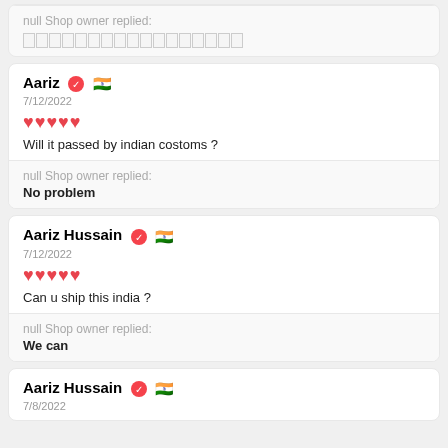null Shop owner replied: [redacted]
Aariz 7/12/2022 ♥♥♥♥♥ Will it passed by indian costoms ?
null Shop owner replied: No problem
Aariz Hussain 7/12/2022 ♥♥♥♥♥ Can u ship this india ?
null Shop owner replied: We can
Aariz Hussain 7/8/2022